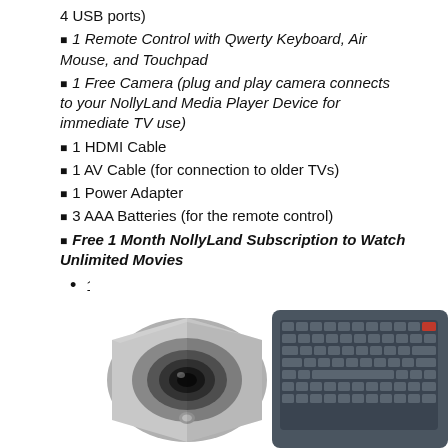4 USB ports)
1 Remote Control with Qwerty Keyboard, Air Mouse, and Touchpad
1 Free Camera (plug and play camera connects to your NollyLand Media Player Device for immediate TV use)
1 HDMI Cable
1 AV Cable (for connection to older TVs)
1 Power Adapter
3 AAA Batteries (for the remote control)
Free 1 Month NollyLand Subscription to Watch Unlimited Movies
100%; height: auto">
[Figure (photo): Bottom view of a silver webcam lens showing circular metallic housing with lens in center]
[Figure (photo): Dark grey compact QWERTY keyboard with small keys, partial view]